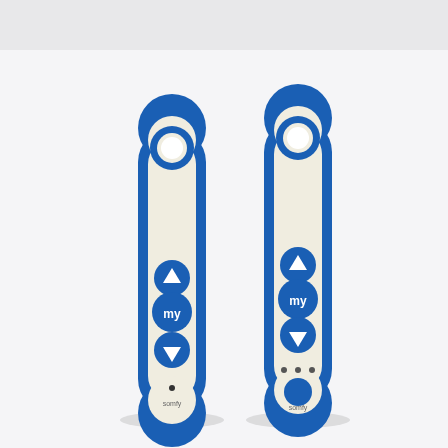[Figure (photo): Two Somfy remote controls (Situo style) side by side on a white background. Both are white/cream colored with blue trim/border, teardrop/oval shaped. Each has a circular loop/ring at the top in blue. Each has three blue buttons in the center: an up arrow (chevron up), a round 'my' button, and a down arrow (chevron down). The left remote has a single small LED dot near the bottom. The right remote has three small LED dots and an additional large round blue button below them near the bottom. Both remotes have 'Somfy' branding text at the bottom in small print.]